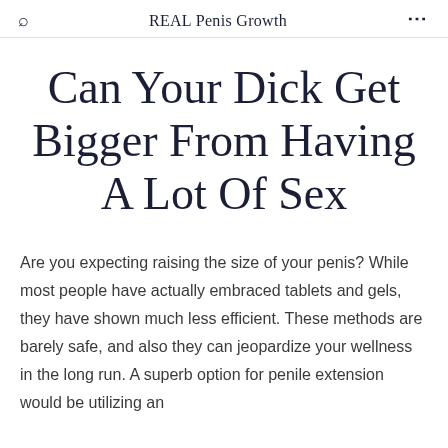REAL Penis Growth
Can Your Dick Get Bigger From Having A Lot Of Sex
Are you expecting raising the size of your penis? While most people have actually embraced tablets and gels, they have shown much less efficient. These methods are barely safe, and also they can jeopardize your wellness in the long run. A superb option for penile extension would be utilizing an